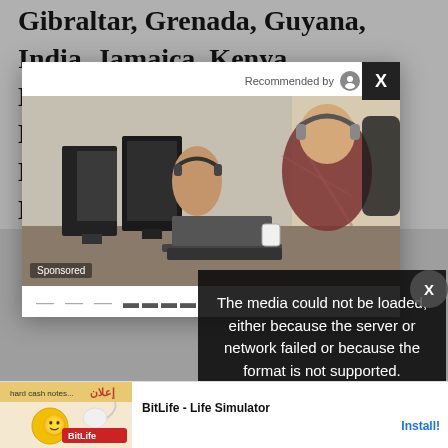Gibraltar, Grenada, Guyana, India, Jamaica, Kenya, Kiribati, Lesotho, Malawi, Malaysia, Maldives, Mauritius, Montserrat, Mozambique, Namibia,
[Figure (screenshot): Advertisement modal overlay with office photo showing two people working at computers with headphones. Has 'Recommended by' bar at top with icons, X close button, and 'Sponsored' label on photo.]
The media could not be loaded, either because the server or network failed or because the format is not supported.
[Figure (screenshot): Bottom banner advertisement for BitLife - Life Simulator app with colorful game art on left and Install button on right.]